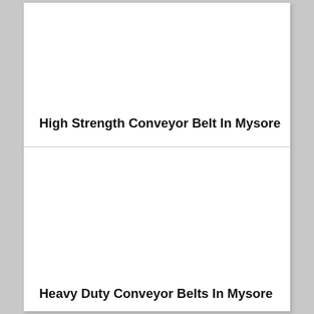High Strength Conveyor Belt In Mysore
Heavy Duty Conveyor Belts In Mysore